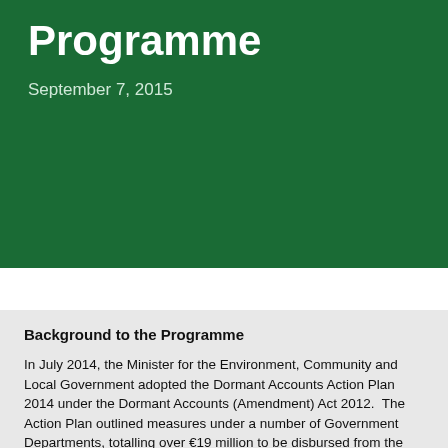Programme
September 7, 2015
Background to the Programme
In July 2014, the Minister for the Environment, Community and Local Government adopted the Dormant Accounts Action Plan 2014 under the Dormant Accounts (Amendment) Act 2012.  The Action Plan outlined measures under a number of Government Departments, totalling over €19 million to be disbursed from the Dormant Accounts Fund.  The Plan included the following two sports measures